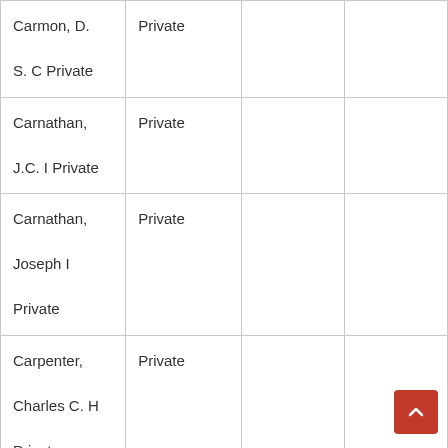| Carmon, D. S. C Private | Private |  |  |
| Carnathan, J.C. I Private | Private |  |  |
| Carnathan, Joseph I Private | Private |  |  |
| Carpenter, Charles C. H Private | Private |  |  |
|  |  |  |  |